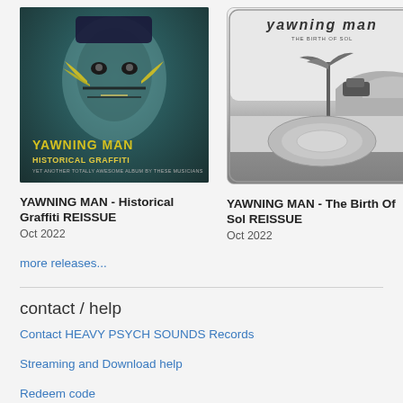[Figure (photo): Album cover for YAWNING MAN Historical Graffiti REISSUE - close-up of indigenous child's face with face paint and feathers, teal background, band name and album title overlaid]
YAWNING MAN - Historical Graffiti REISSUE
Oct 2022
[Figure (photo): Album cover for YAWNING MAN The Birth Of Sol REISSUE - black and white photo of desert landscape with palm tree and circular pool/skate feature, rounded rectangle border, band name at top]
YAWNING MAN - The Birth Of Sol REISSUE
Oct 2022
more releases...
contact / help
Contact HEAVY PSYCH SOUNDS Records
Streaming and Download help
Redeem code